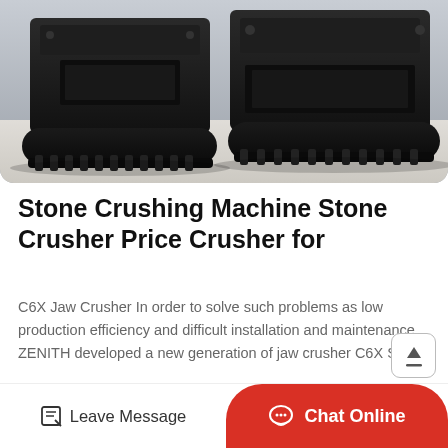[Figure (photo): Close-up photo of heavy black industrial stone crusher machinery with rubber tracks (undercarriage/crawler system), sitting on a light surface, shot from low angle showing two units side by side.]
Stone Crushing Machine Stone Crusher Price Crusher for
C6X Jaw Crusher In order to solve such problems as low production efficiency and difficult installation and maintenance ZENITH developed a new generation of jaw crusher C6X Seri…
Read More
[Figure (photo): Partial bottom strip showing another machinery/industrial scene image, partially visible.]
Leave Message   Chat Online